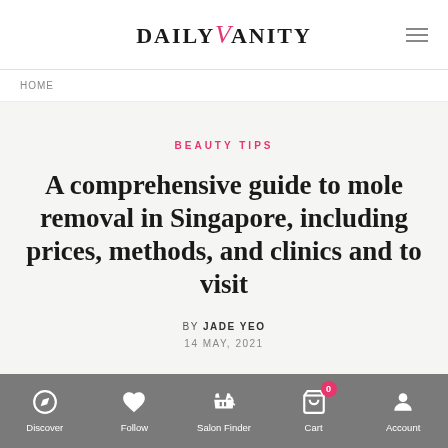DAILY VANITY
HOME
BEAUTY TIPS
A comprehensive guide to mole removal in Singapore, including prices, methods, and clinics and to visit
By JADE YEO
14 MAY, 2021
Discover  Follow  Salon Finder  Cart  Account